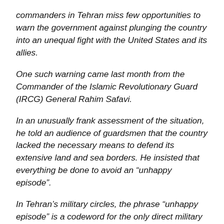commanders in Tehran miss few opportunities to warn the government against plunging the country into an unequal fight with the United States and its allies.
One such warning came last month from the Commander of the Islamic Revolutionary Guard (IRCG) General Rahim Safavi.
In an unusually frank assessment of the situation, he told an audience of guardsmen that the country lacked the necessary means to defend its extensive land and sea borders. He insisted that everything be done to avoid an “unhappy episode”.
In Tehran’s military circles, the phrase “unhappy episode” is a codeword for the only direct military clash that has so far taken place between the Islamic Republic and the